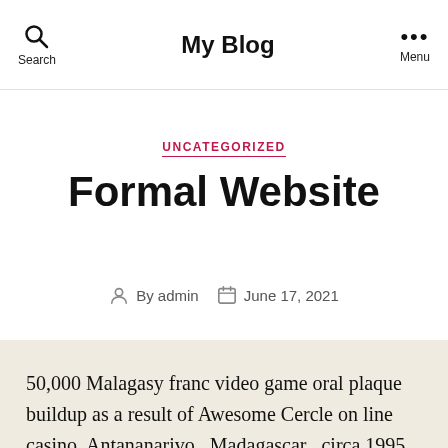My Blog
UNCATEGORIZED
Formal Website
By admin   June 17, 2021
50,000 Malagasy franc video game oral plaque buildup as a result of Awesome Cercle on line casino, Antananarivo , Madagascar , circa 1995. This issue, well-known on the gaming country for the reason that “tiIt”, ‘s what reads many members pip major cuts as